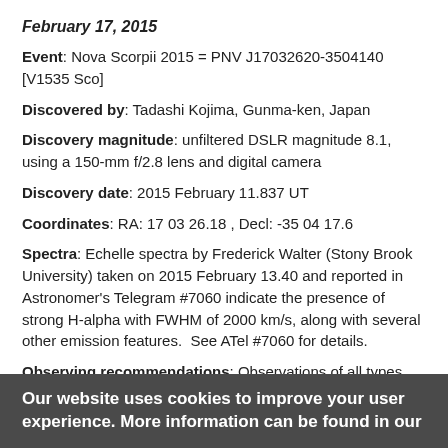February 17, 2015
Event: Nova Scorpii 2015 = PNV J17032620-3504140  [V1535 Sco]
Discovered by: Tadashi Kojima, Gunma-ken, Japan
Discovery magnitude: unfiltered DSLR magnitude 8.1, using a 150-mm f/2.8 lens and digital camera
Discovery date: 2015 February 11.837 UT
Coordinates: RA: 17 03 26.18 , Decl: -35 04 17.6
Spectra: Echelle spectra by Frederick Walter (Stony Brook University) taken on 2015 February 13.40 and reported in Astronomer's Telegram #7060 indicate the presence of strong H-alpha with FWHM of 2000 km/s, along with several other emission features.  See ATel #7060 for details.
Observing recommendations: Observations of all types (visual, CCD, DSLR, spectroscopy) are strongly encouraged in following the evolution of this nova.
Our website uses cookies to improve your user experience. More information can be found in our